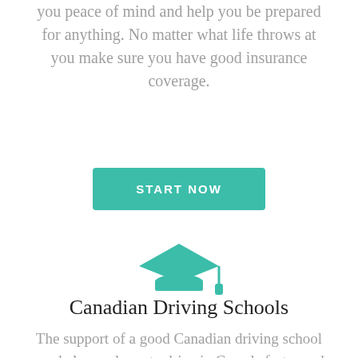you peace of mind and help you be prepared for anything. No matter what life throws at you make sure you have good insurance coverage.
[Figure (other): Green START NOW button]
[Figure (illustration): Teal graduation cap icon]
Canadian Driving Schools
The support of a good Canadian driving school can help you learn to drive in Canada faster and build confidence before attempting on-road driving tests.